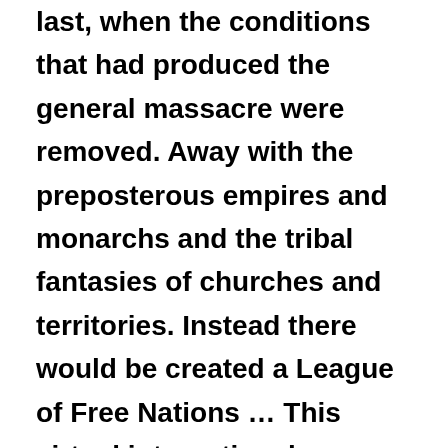last, when the conditions that had produced the general massacre were removed. Away with the preposterous empires and monarchs and the tribal fantasies of churches and territories. Instead there would be created a League of Free Nations … This virtual international government, informed by science and motivated by disinterested guardianship of the fate of common